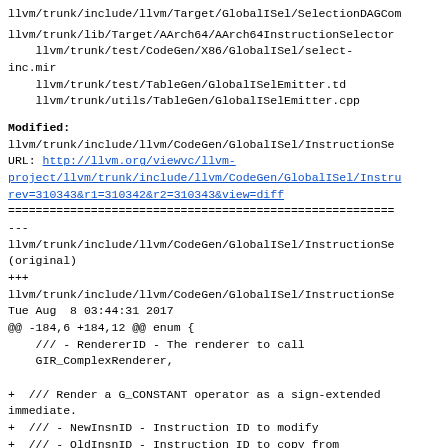llvm/trunk/include/llvm/Target/GlobalISel/SelectionDAGCom
llvm/trunk/lib/Target/AArch64/AArch64InstructionSelector
    llvm/trunk/test/CodeGen/X86/GlobalISel/select-
inc.mir
    llvm/trunk/test/TableGen/GlobalISelEmitter.td
    llvm/trunk/utils/TableGen/GlobalISelEmitter.cpp
Modified:
llvm/trunk/include/llvm/CodeGen/GlobalISel/InstructionSe
URL: http://llvm.org/viewvc/llvm-project/llvm/trunk/include/llvm/CodeGen/GlobalISel/Instru
rev=310343&r1=310342&r2=310343&view=diff
======================================================
---
llvm/trunk/include/llvm/CodeGen/GlobalISel/InstructionSe
(original)
+++
llvm/trunk/include/llvm/CodeGen/GlobalISel/InstructionSe
Tue Aug  8 03:44:31 2017
@@ -184,6 +184,12 @@ enum {
    /// - RendererID - The renderer to call
    GIR_ComplexRenderer,

+  /// Render a G_CONSTANT operator as a sign-extended
immediate.
+  /// - NewInsnID - Instruction ID to modify
+  /// - OldInsnID - Instruction ID to copy from
+  /// The operand index is implicitly 1.
+  GIR_CopyConstantAsSImm,